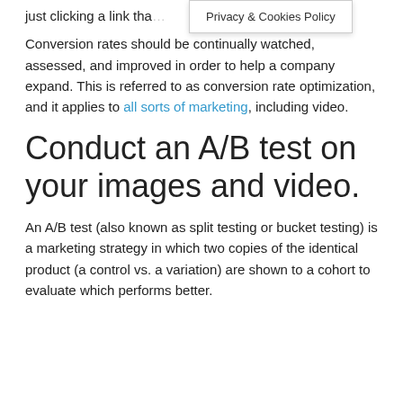just clicking a link that … ge.
Privacy & Cookies Policy
Conversion rates should be continually watched, assessed, and improved in order to help a company expand. This is referred to as conversion rate optimization, and it applies to all sorts of marketing, including video.
Conduct an A/B test on your images and video.
An A/B test (also known as split testing or bucket testing) is a marketing strategy in which two copies of the identical product (a control vs. a variation) are shown to a cohort to evaluate which performs better.